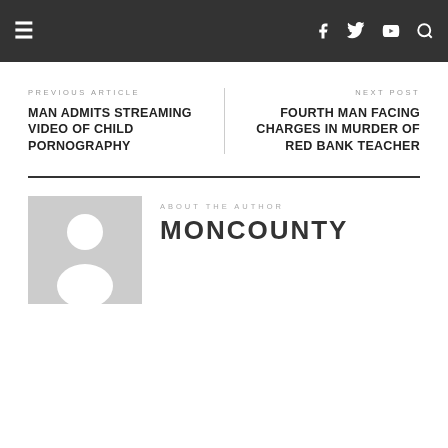Navigation bar with hamburger menu, Facebook, Twitter, YouTube, and Search icons
PREVIOUS ARTICLE
MAN ADMITS STREAMING VIDEO OF CHILD PORNOGRAPHY
NEXT POST
FOURTH MAN FACING CHARGES IN MURDER OF RED BANK TEACHER
ABOUT THE AUTHOR
MONCOUNTY
[Figure (illustration): Generic author avatar placeholder: grey background with white silhouette of a person]